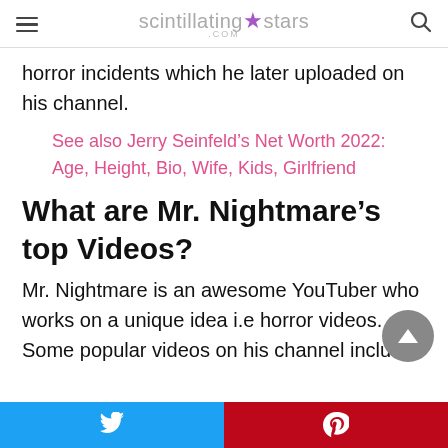scintillating stars .com
horror incidents which he later uploaded on his channel.
See also Jerry Seinfeld’s Net Worth 2022: Age, Height, Bio, Wife, Kids, Girlfriend
What are Mr. Nightmare’s top Videos?
Mr. Nightmare is an awesome YouTuber who works on a unique idea i.e horror videos. Some popular videos on his channel include: